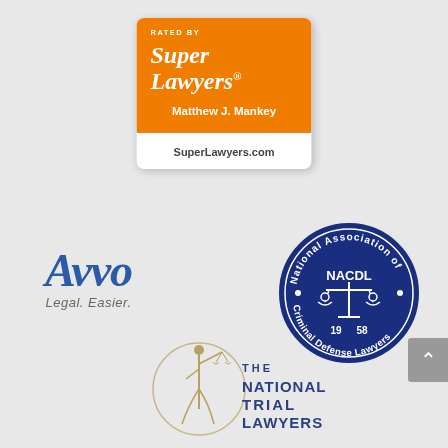[Figure (logo): Super Lawyers badge - orange square badge with 'RATED BY' text, 'Super Lawyers' in large italic text, 'Matthew J. Mankey' name, and 'SuperLawyers.com' in white footer]
[Figure (logo): Avvo logo - blue italic text 'Avvo' with tagline 'Legal. Easier.' below]
[Figure (logo): NACDL circular seal - National Association of Criminal Defense Lawyers, dark blue circle with scales of justice and '1958' founding year]
[Figure (logo): The National Trial Lawyers logo - figure of justice holding scales with circular ring, text 'THE NATIONAL TRIAL LAWYERS' in gold and navy]